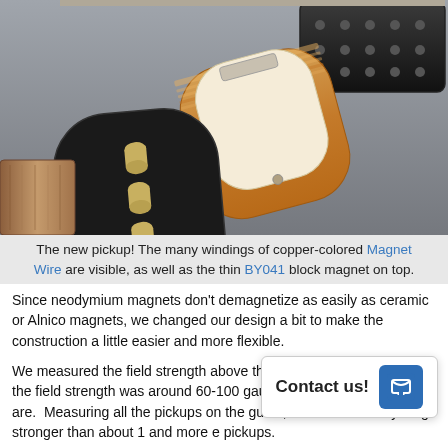[Figure (photo): Photo of multiple guitar pickups on a gray surface. One pickup has a black cover with cylindrical pole pieces, another has copper-colored windings visible and a cream-colored top with a thin block magnet on top. A wooden-bodied pickup part is visible at lower left, and a black humbucker-style pickup is at upper right.]
The new pickup! The many windings of copper-colored Magnet Wire are visible, as well as the thin BY041 block magnet on top.
Since neodymium magnets don't demagnetize as easily as ceramic or Alnico magnets, we changed our design a bit to make the construction a little easier and more flexible.
We measured the field strength above the old pickup, and found that the field strength was around 60-100 gauss up where the strings are.  Measuring all the pickups on the guitar, we didn't see anything stronger than about 1 an e pickups.